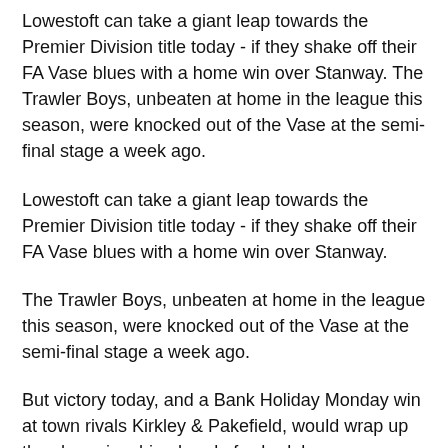Lowestoft can take a giant leap towards the Premier Division title today - if they shake off their FA Vase blues with a home win over Stanway. The Trawler Boys, unbeaten at home in the league this season, were knocked out of the Vase at the semi-final stage a week ago.
Lowestoft can take a giant leap towards the Premier Division title today - if they shake off their FA Vase blues with a home win over Stanway.
The Trawler Boys, unbeaten at home in the league this season, were knocked out of the Vase at the semi-final stage a week ago.
But victory today, and a Bank Holiday Monday win at town rivals Kirkley & Pakefield, would wrap up the championship ahead of schedule.